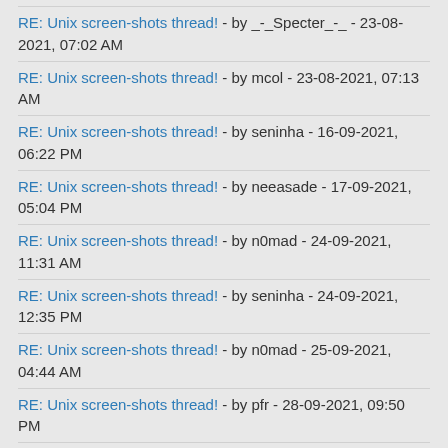RE: Unix screen-shots thread! - by _-_Specter_-_ - 23-08-2021, 07:02 AM
RE: Unix screen-shots thread! - by mcol - 23-08-2021, 07:13 AM
RE: Unix screen-shots thread! - by seninha - 16-09-2021, 06:22 PM
RE: Unix screen-shots thread! - by neeasade - 17-09-2021, 05:04 PM
RE: Unix screen-shots thread! - by n0mad - 24-09-2021, 11:31 AM
RE: Unix screen-shots thread! - by seninha - 24-09-2021, 12:35 PM
RE: Unix screen-shots thread! - by n0mad - 25-09-2021, 04:44 AM
RE: Unix screen-shots thread! - by pfr - 28-09-2021, 09:50 PM
RE: Unix screen-shots thread! - by seninha - 28-09-2021, 10:20 PM
RE: Unix screen-shots thread! - by pfr - 29-09-2021, 12:24 AM
RE: Unix screen-shots thread! - by neeasade - 29-09-2021, 04:18 PM
RE: Unix screen-shots thread! - by ...